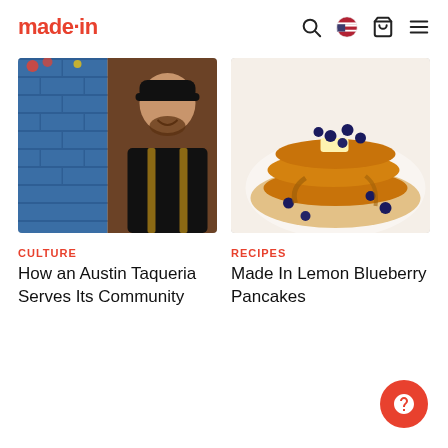made·in
[Figure (photo): Chef in black cap and apron smiling, standing in front of a blue brick wall with flowers]
[Figure (photo): Stack of lemon blueberry pancakes with butter and maple syrup on a white plate]
CULTURE
How an Austin Taqueria Serves Its Community
RECIPES
Made In Lemon Blueberry Pancakes